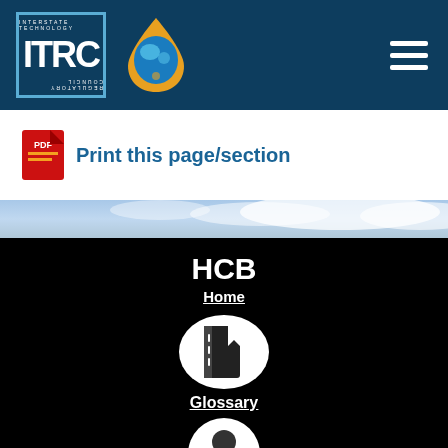[Figure (logo): ITRC (Interstate Technology Regulatory Council) logo and water drop logo on dark blue header bar with hamburger menu]
[Figure (logo): PDF icon (red Adobe PDF icon)]
Print this page/section
[Figure (photo): Sky/clouds landscape band]
HCB
Home
[Figure (illustration): White circle with book/glossary icon inside]
Glossary
[Figure (illustration): Partial white circle icon at bottom]